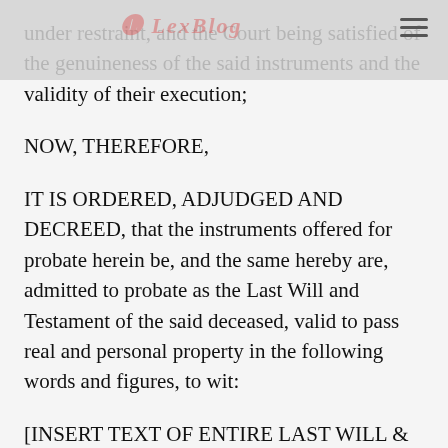LexBlog
under restraint, and the Court being satisfied of the genuineness of the said instruments and the validity of their execution;
NOW, THEREFORE,
IT IS ORDERED, ADJUDGED AND DECREED, that the instruments offered for probate herein be, and the same hereby are, admitted to probate as the Last Will and Testament of the said deceased, valid to pass real and personal property in the following words and figures, to wit:
[INSERT TEXT OF ENTIRE LAST WILL & TESTAMENT HERE]
IT IS FURTHER ORDERED AND DECREED that the said Will and this decree be recorded, and